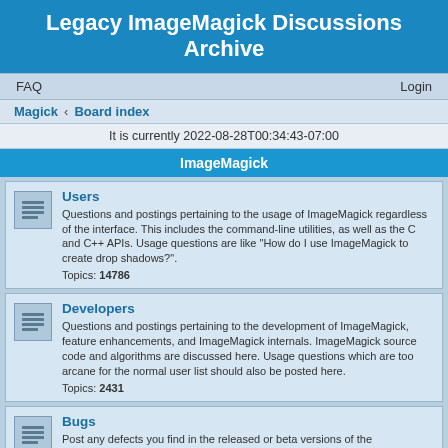Legacy ImageMagick Discussions Archive
FAQ    Login
Magick · Board index
It is currently 2022-08-28T00:34:43-07:00
ImageMagick
Users
Questions and postings pertaining to the usage of ImageMagick regardless of the interface. This includes the command-line utilities, as well as the C and C++ APIs. Usage questions are like "How do I use ImageMagick to create drop shadows?".
Topics: 14786
Developers
Questions and postings pertaining to the development of ImageMagick, feature enhancements, and ImageMagick internals. ImageMagick source code and algorithms are discussed here. Usage questions which are too arcane for the normal user list should also be posted here.
Topics: 2431
Bugs
Post any defects you find in the released or beta versions of the ImageMagick software here. Include the ImageMagick version, OS, and any command-line required to reproduce the problem. Got a patch for a bug? Post it here.
Topics: 4991
Consulting
Do you need consulting from ImageMagick experts and are willing to pay for it?